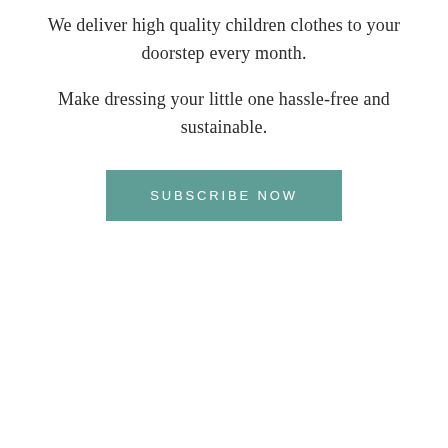We deliver high quality children clothes to your doorstep every month.
Make dressing your little one hassle-free and sustainable.
SUBSCRIBE NOW